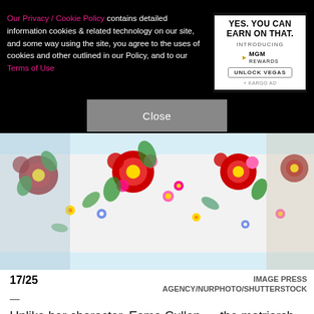Our Privacy / Cookie Policy contains detailed information cookies & related technology on our site, and some way using the site, you agree to the uses of cookies and other outlined in our Policy, and to our Terms of Use
[Figure (screenshot): Advertisement banner: YES. YOU CAN EARN ON THAT. INTRODUCING MGM REWARDS. UNLOCK VEGAS. + KARGO AD]
[Figure (photo): Close-up of a white floral patterned fabric/clothing with red, pink, yellow and green flowers]
Close
17/25
IMAGE PRESS AGENCY/NURPHOTO/SHUTTERSTOCK
—
Unlike her character, Esme Cullen — the matriarch of the Cullen family — Elizabeth Reaser has kept her private life very private. She has yet to publicly confirm a romantic relationship (though her Instagram feed often includes photos of a man named Bruce Gilbert)